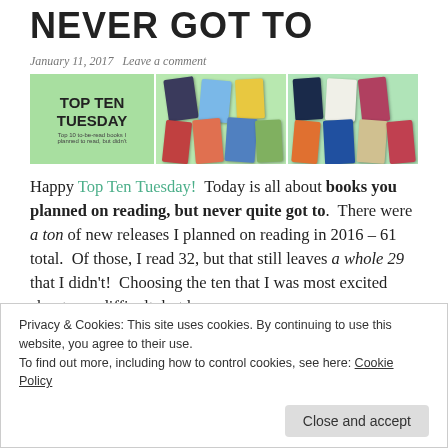NEVER GOT TO
January 11, 2017   Leave a comment
[Figure (illustration): Top Ten Tuesday banner image with book covers on green background]
Happy Top Ten Tuesday!  Today is all about books you planned on reading, but never quite got to.  There were a ton of new releases I planned on reading in 2016 – 61 total.  Of those, I read 32, but that still leaves a whole 29 that I didn't!  Choosing the ten that I was most excited about was difficult, but here
Privacy & Cookies: This site uses cookies. By continuing to use this website, you agree to their use.
To find out more, including how to control cookies, see here: Cookie Policy
Close and accept